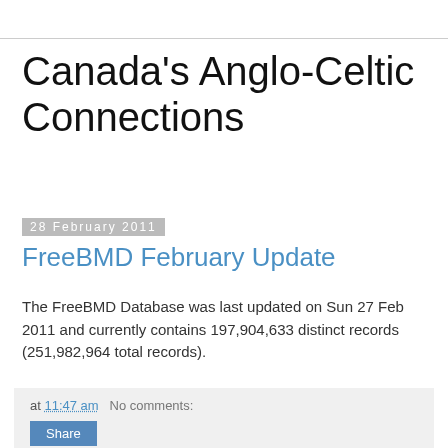Canada's Anglo-Celtic Connections
28 February 2011
FreeBMD February Update
The FreeBMD Database was last updated on Sun 27 Feb 2011 and currently contains 197,904,633 distinct records (251,982,964 total records).
at 11:47 am   No comments:
Afflicted with taphophilia?